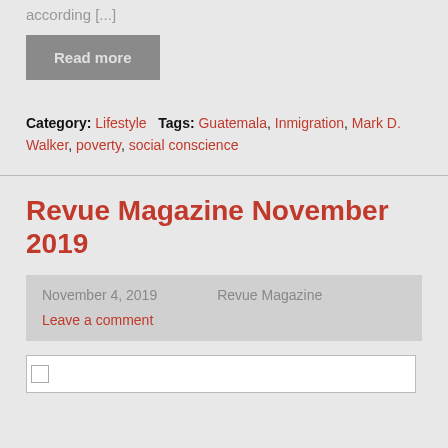according [...]
Read more
Category: Lifestyle   Tags: Guatemala, Inmigration, Mark D. Walker, poverty, social conscience
Revue Magazine November 2019
November 4, 2019   Revue Magazine   Leave a comment
[Figure (photo): Broken image placeholder for Revue Magazine November 2019 article]